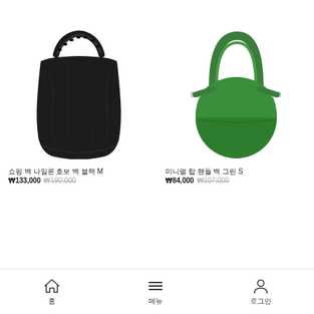[Figure (photo): Black soft nylon hobo shoulder bag with ruched/scrunchie handle, photographed on white background]
[Figure (photo): Green leather circular top-handle structured mini bag with silver hardware, photographed on white background]
쇼핑 백 나일론 호보 백 블랙 M
₩133,000 ₩190,000
미니멀 탑 핸들 백 그린 S
₩84,000 ₩107,000
홈 | 메뉴 | 로그인